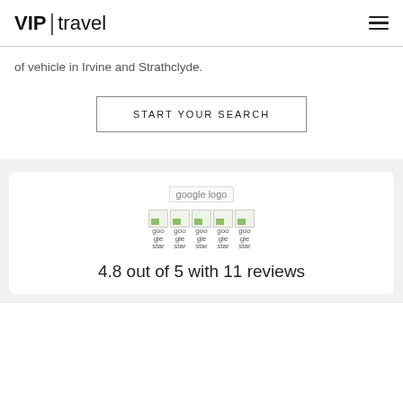VIP|travel
of vehicle in Irvine and Strathclyde.
START YOUR SEARCH
[Figure (logo): google logo placeholder image with broken image icon]
[Figure (other): Five star rating images shown as broken images with alt text 'google star' repeated five times]
4.8 out of 5 with 11 reviews